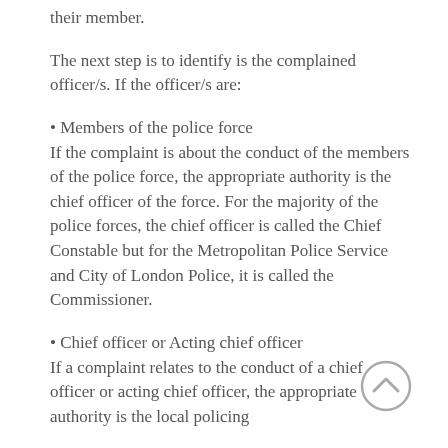their member.
The next step is to identify is the complained officer/s. If the officer/s are:
• Members of the police force
If the complaint is about the conduct of the members of the police force, the appropriate authority is the chief officer of the force. For the majority of the police forces, the chief officer is called the Chief Constable but for the Metropolitan Police Service and City of London Police, it is called the Commissioner.
• Chief officer or Acting chief officer
If a complaint relates to the conduct of a chief officer or acting chief officer, the appropriate authority is the local policing